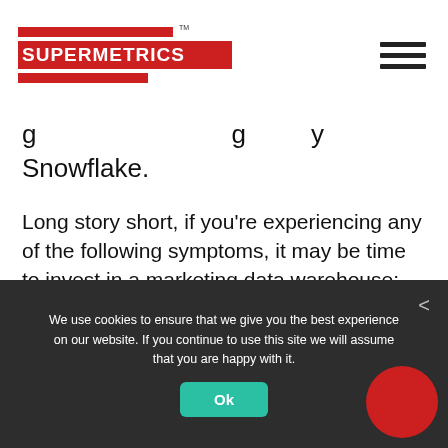SUPERMETRICS
g g y Snowflake.
Long story short, if you're experiencing any of the following symptoms, it may be time to invest in a marketing data warehouse:
Unfavorable market conditions making it necessary to “cut the fat”
We use cookies to ensure that we give you the best experience on our website. If you continue to use this site we will assume that you are happy with it.